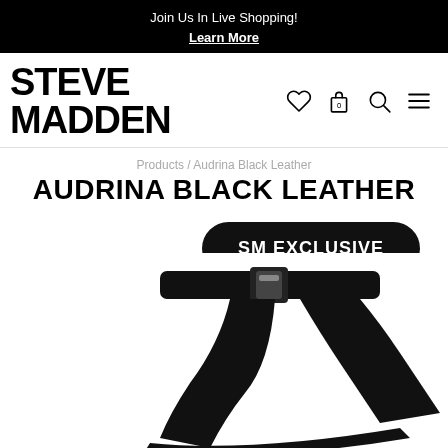Join Us In Live Shopping!
Learn More
[Figure (logo): Steve Madden logo with navigation icons (heart, bag, search, menu)]
Products / Audrina Black Leather
AUDRINA BLACK LEATHER
SM EXCLUSIVE
[Figure (photo): Black leather high-heeled sandal (Audrina) with ankle strap and buckle, partially visible from below mid-page]